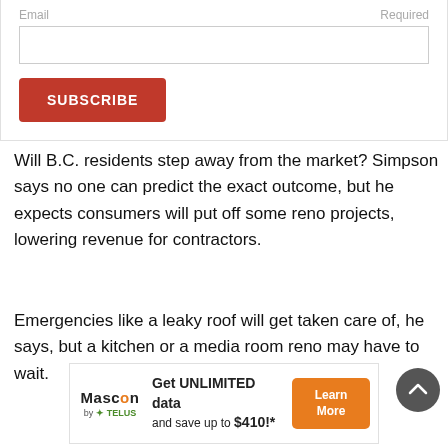Email
Required
SUBSCRIBE
Will B.C. residents step away from the market? Simpson says no one can predict the exact outcome, but he expects consumers will put off some reno projects, lowering revenue for contractors.
Emergencies like a leaky roof will get taken care of, he says, but a kitchen or a media room reno may have to wait.
[Figure (infographic): Advertisement banner for Mascon by TELUS: Get UNLIMITED data and save up to $410!* with a Learn More button]